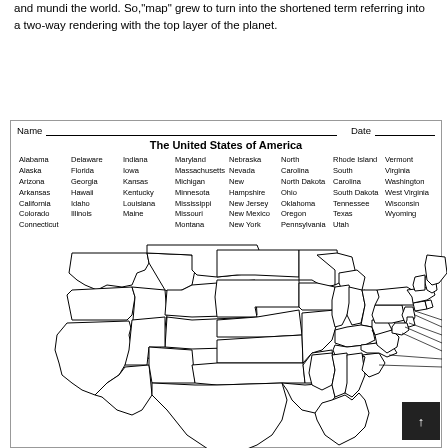and mundi the world. So,"map" grew to turn into the shortened term referring into a two-way rendering with the top layer of the planet.
[Figure (map): Blank outline map of The United States of America with state boundaries and labeling lines on the east coast. Includes a Name/Date fill-in line and a list of all 50 states above the map.]